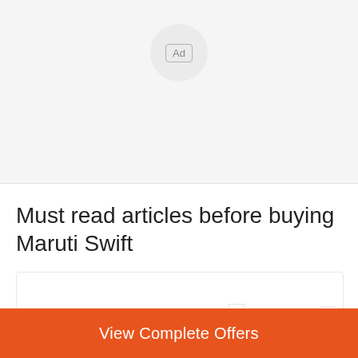[Figure (other): Ad badge circle with 'Ad' label inside a rounded rectangle, on a light gray background]
Must read articles before buying Maruti Swift
[Figure (illustration): Partial view of article card with faint icon graphics (car/building silhouettes) on white background]
View Complete Offers